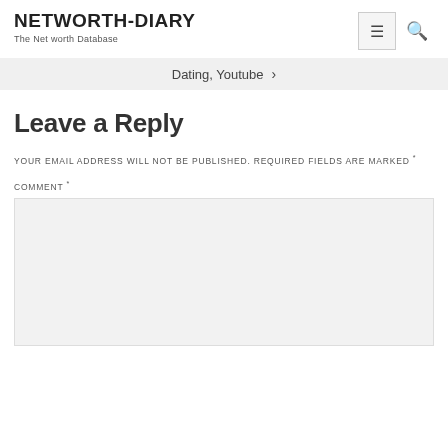NETWORTH-DIARY
The Net worth Database
Dating, Youtube >
Leave a Reply
YOUR EMAIL ADDRESS WILL NOT BE PUBLISHED. REQUIRED FIELDS ARE MARKED *
COMMENT *